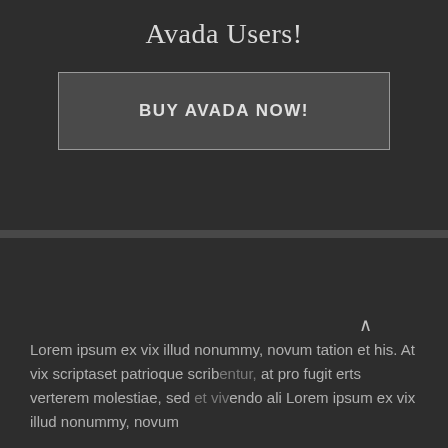Avada Users!
BUY AVADA NOW!
Lorem ipsum ex vix illud nonummy, novum tation et his. At vix scriptaset patrioque scribentur, at pro fugit erts verterem molestiae, sed et vivendo ali Lorem ipsum ex vix illud nonummy, novum